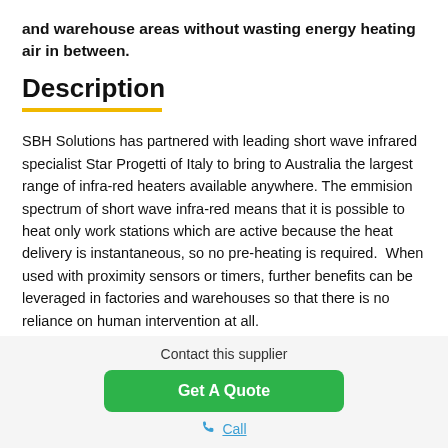and warehouse areas without wasting energy heating air in between.
Description
SBH Solutions has partnered with leading short wave infrared specialist Star Progetti of Italy to bring to Australia the largest range of infra-red heaters available anywhere. The emmision spectrum of short wave infra-red means that it is possible to heat only work stations which are active because the heat delivery is instantaneous, so no pre-heating is required.  When used with proximity sensors or timers, further benefits can be leveraged in factories and warehouses so that there is no reliance on human intervention at all.
Star Progetti's range includes a variety of power outputs from
Contact this supplier
Get A Quote
Call